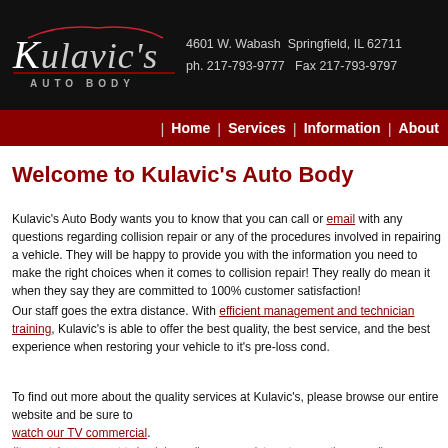[Figure (logo): Kulavic's Auto Body logo with car silhouette on black background, address: 4601 W. Wabash Springfield, IL 62711, ph. 217-793-9777 Fax 217-793-9797]
| Home | Services | Information | About
Welcome to Kulavic's Auto Body
Kulavic's Auto Body wants you to know that you can call or email with any questions regarding collision repair or any of the procedures involved in repairing a vehicle. They will be happy to provide you with the information you need to make the right choices when it comes to collision repair! They really do mean it when they say they are committed to 100% customer satisfaction!
Our staff goes the extra distance. With efficient management and technician training, Kulavic's is able to offer the best quality, the best service, and the best experience when restoring your vehicle to it's pre-loss cond...
To find out more about the quality services at Kulavic's, please browse our entire website and be sure to watch our TV commercial. (It may take a moment to load depending on your internet connection speed).